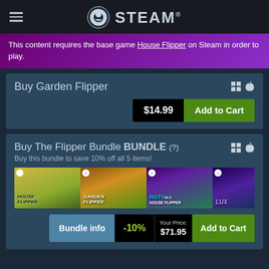STEAM®
This content requires the base game House Flipper on Steam in order to play.
Buy Garden Flipper
$14.99  Add to Cart
Buy The Flipper Bundle BUNDLE (?)
Buy this bundle to save 10% off all 5 items!
[Figure (screenshot): Bundle game images: House Flipper, Garden Flipper, HGTV DLC House Flipper, LUX]
Bundle info  -10%  Your Price: $71.95  Add to Cart